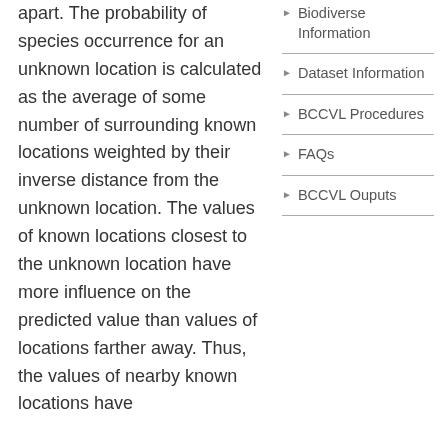apart. The probability of species occurrence for an unknown location is calculated as the average of some number of surrounding known locations weighted by their inverse distance from the unknown location. The values of known locations closest to the unknown location have more influence on the predicted value than values of locations farther away. Thus, the values of nearby known locations have
Biodiverse Information
Dataset Information
BCCVL Procedures
FAQs
BCCVL Ouputs